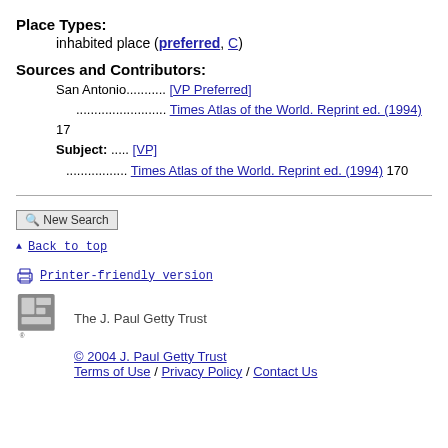Place Types:
inhabited place (preferred, C)
Sources and Contributors:
San Antonio........... [VP Preferred]
.......................... Times Atlas of the World. Reprint ed. (1994) 17
Subject: ..... [VP]
.................. Times Atlas of the World. Reprint ed. (1994) 170
New Search
Back to top
Printer-friendly version
[Figure (logo): J. Paul Getty Trust logo — stylized GRI letters in grey]
The J. Paul Getty Trust
© 2004 J. Paul Getty Trust
Terms of Use / Privacy Policy / Contact Us